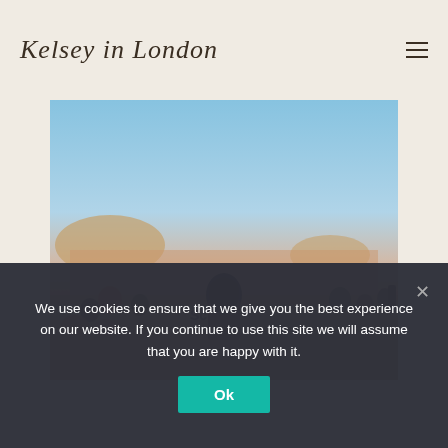Kelsey in London
[Figure (photo): A woman with long hair seen from behind, sitting on a terrace overlooking a city skyline at golden hour/sunset. Other visitors are seated around her. Graffiti visible on a low wall. Park Güell, Barcelona aesthetic.]
We use cookies to ensure that we give you the best experience on our website. If you continue to use this site we will assume that you are happy with it.